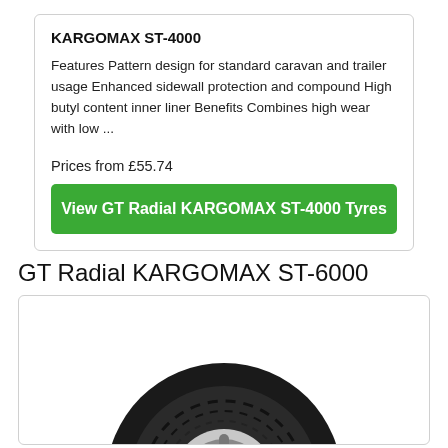KARGOMAX ST-4000
Features Pattern design for standard caravan and trailer usage Enhanced sidewall protection and compound High butyl content inner liner Benefits Combines high wear with low ...
Prices from £55.74
View GT Radial KARGOMAX ST-4000 Tyres
GT Radial KARGOMAX ST-6000
[Figure (photo): Photo of GT Radial KARGOMAX ST-6000 tyre showing tread pattern and sidewall]